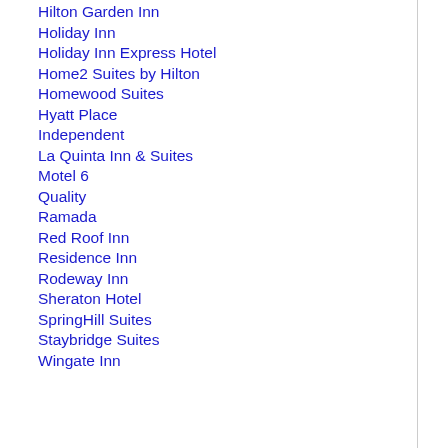Hilton Garden Inn
Holiday Inn
Holiday Inn Express Hotel
Home2 Suites by Hilton
Homewood Suites
Hyatt Place
Independent
La Quinta Inn & Suites
Motel 6
Quality
Ramada
Red Roof Inn
Residence Inn
Rodeway Inn
Sheraton Hotel
SpringHill Suites
Staybridge Suites
Wingate Inn